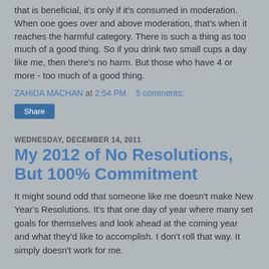that is beneficial, it's only if it's consumed in moderation. When one goes over and above moderation, that's when it reaches the harmful category. There is such a thing as too much of a good thing. So if you drink two small cups a day like me, then there's no harm. But those who have 4 or more - too much of a good thing.
ZAHIDA MACHAN at 2:54 PM    5 comments:
Share
WEDNESDAY, DECEMBER 14, 2011
My 2012 of No Resolutions, But 100% Commitment
It might sound odd that someone like me doesn't make New Year's Resolutions. It's that one day of year where many set goals for themselves and look ahead at the coming year and what they'd like to accomplish. I don't roll that way. It simply doesn't work for me.
Clearly, it's not that I'm not a goal-setter: quite the opposite, in fact. I guess it's that I make commitments to myself 365 days/year, and set goals